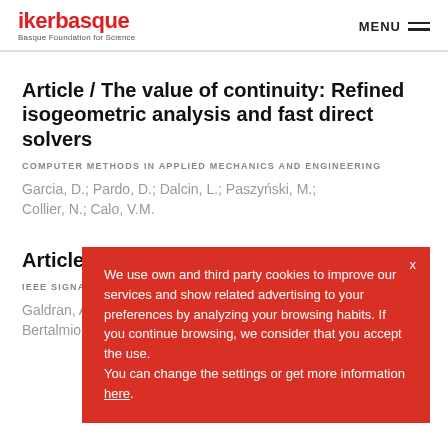ikerbasque — Basque Foundation for Science | MENU
Article / The value of continuity: Refined isogeometric analysis and fast direct solvers
COMPUTER METHODS IN APPLIED MECHANICS AND ENGINEERING
Garcia, D.; Pardo, D.; Dalcin, L.; Paszyński, M.; Collier, N.; Calo, V.M.
Article / Fus… dehazing
IEEE SIGNAL PROCE…
Galdran, A.; V… Bertalmio, M.…
We use own and third party cookies to improve our services and show related advertising to your preferences by analyzing your browsing habits. If you continue browsing, we consider that you accept the use. You can change the settings or get more information here.